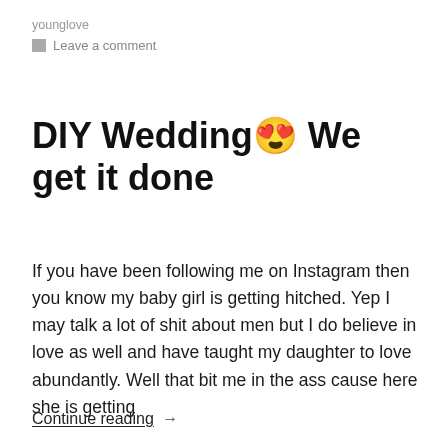younglove
Leave a comment
DIY Wedding😍 We get it done
If you have been following me on Instagram then you know my baby girl is getting hitched. Yep I may talk a lot of shit about men but I do believe in love as well and have taught my daughter to love abundantly. Well that bit me in the ass cause here she is getting
Continue reading →